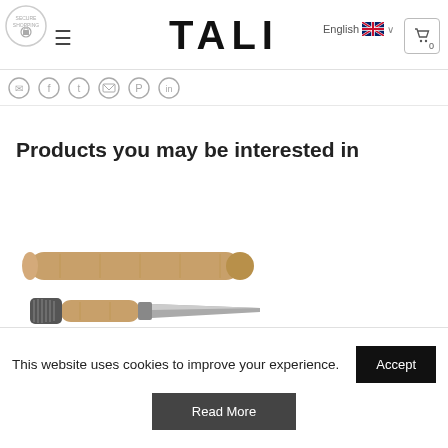TALI — Secure Shopping — English — Cart 0
[Figure (illustration): Social media share icons row: WhatsApp, Facebook, Twitter, Email, Pinterest, LinkedIn]
Products you may be interested in
[Figure (photo): Two tools with wooden handles: a round wooden rod/tube on top and a small knife/brush tool with wooden handle below, on white background]
This website uses cookies to improve your experience.
Accept
Read More